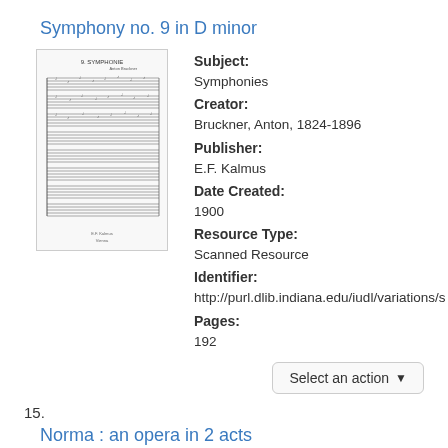Symphony no. 9 in D minor
[Figure (photo): Thumbnail of a musical score sheet showing dense lines of sheet music notation with title '9. SYMPHONIE' visible at top]
Subject: Symphonies
Creator: Bruckner, Anton, 1824-1896
Publisher: E.F. Kalmus
Date Created: 1900
Resource Type: Scanned Resource
Identifier: http://purl.dlib.indiana.edu/iudl/variations/s
Pages: 192
Select an action ▾
15.
Norma : an opera in 2 acts